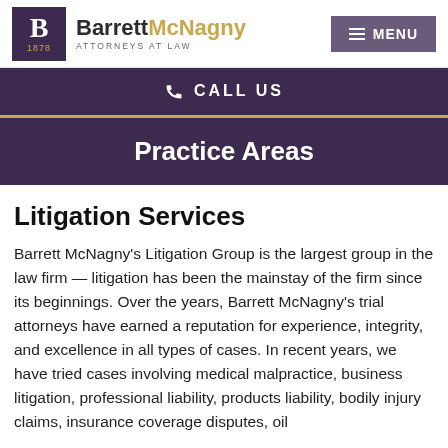Barrett McNagny — ATTORNEYS AT LAW | MENU
CALL US
Practice Areas
Litigation Services
Barrett McNagny's Litigation Group is the largest group in the law firm — litigation has been the mainstay of the firm since its beginnings. Over the years, Barrett McNagny's trial attorneys have earned a reputation for experience, integrity, and excellence in all types of cases. In recent years, we have tried cases involving medical malpractice, business litigation, professional liability, products liability, bodily injury claims, insurance coverage disputes, oil